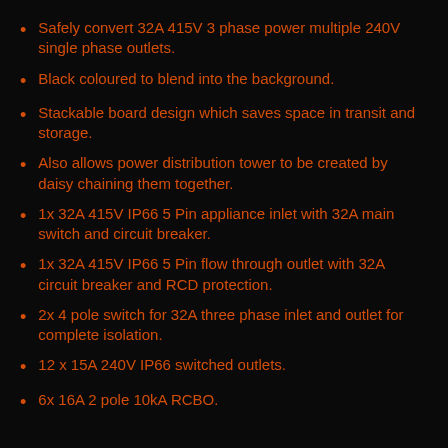Safely convert 32A 415V 3 phase power multiple 240V single phase outlets.
Black coloured to blend into the background.
Stackable board design which saves space in transit and storage.
Also allows power distribution tower to be created by daisy chaining them together.
1x 32A 415V IP66 5 Pin appliance inlet with 32A main switch and circuit breaker.
1x 32A 415V IP66 5 Pin flow through outlet with 32A circuit breaker and RCD protection.
2x 4 pole switch for 32A three phase inlet and outlet for complete isolation.
12 x 15A 240V IP66 switched outlets.
6x 16A 2 pole 10kA RCBO.